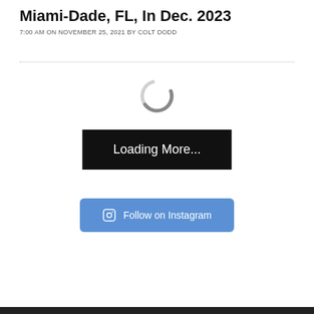Miami-Dade, FL, In Dec. 2023
7:00 AM ON NOVEMBER 25, 2021 BY COLT DODD
[Figure (other): Loading spinner icon (grey circular arc indicating content loading)]
Loading More...
Follow on Instagram